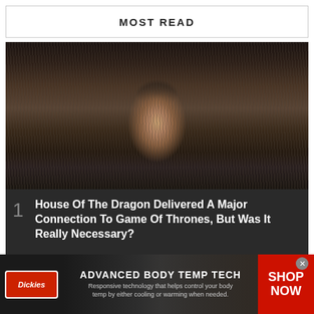MOST READ
[Figure (photo): A young woman in medieval royal costume sitting on the Iron Throne from House of the Dragon TV series, dark atmospheric setting]
1 House Of The Dragon Delivered A Major Connection To Game Of Thrones, But Was It Really Necessary?
2 House of the Dragon Cast: Where You've Seen
[Figure (other): Dickies advertisement banner: ADVANCED BODY TEMP TECH - Responsive technology that helps control your body temp by either cooling or warming when needed. SHOP NOW]